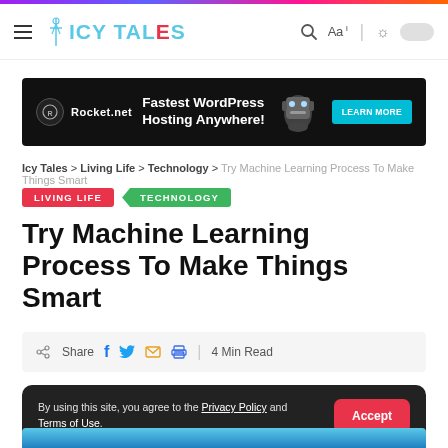ICY TALES
[Figure (other): Rocket.net advertisement banner: Fastest WordPress Hosting Anywhere! with LEARN MORE button]
Icy Tales > Living Life > Technology > Try Machine Learning Process To Make Things Smart
LIVING LIFE  TECHNOLOGY
Try Machine Learning Process To Make Things Smart
Share  4 Min Read
By using this site, you agree to the Privacy Policy and Terms of Use.